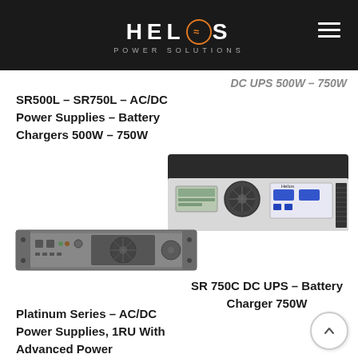HELIOS POWER SOLUTIONS
DC UPS 500W – 750W
SR500L – SR750L – AC/DC Power Supplies – Battery Chargers 500W – 750W
[Figure (photo): Helios SR750C DC UPS battery charger unit, desktop box with LCD display and fan]
[Figure (photo): 1RU rack-mount AC/DC power supply unit, dark grey chassis]
SR 750C DC UPS – Battery Charger 750W
Platinum Series – AC/DC Power Supplies, 1RU With Advanced Power